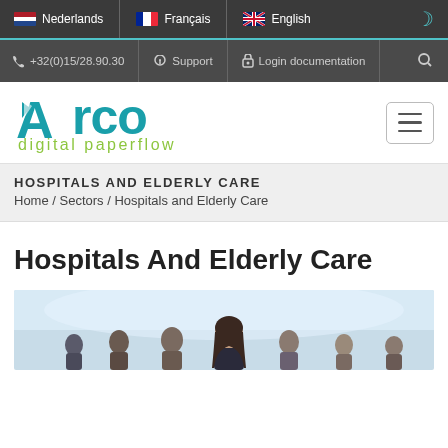Nederlands | Français | English
+32(0)15/28.90.30 | Support | Login documentation
[Figure (logo): Arco digital paperflow logo in teal and olive green]
HOSPITALS AND ELDERLY CARE
Home / Sectors / Hospitals and Elderly Care
Hospitals And Elderly Care
[Figure (photo): Group of medical professionals, with a woman in the center foreground facing camera]